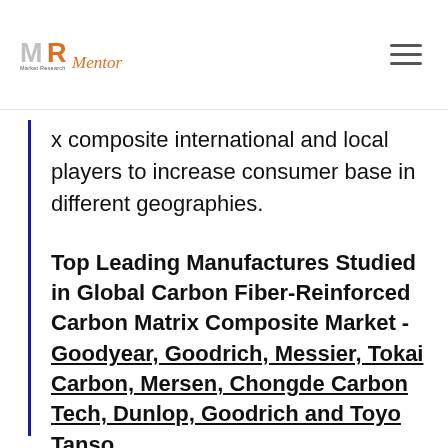Market Research Mentor
x composite international and local players to increase consumer base in different geographies.
Top Leading Manufactures Studied in Global Carbon Fiber-Reinforced Carbon Matrix Composite Market - Goodyear, Goodrich, Messier, Tokai Carbon, Mersen, Chongde Carbon Tech, Dunlop, Goodrich and Toyo Tanso